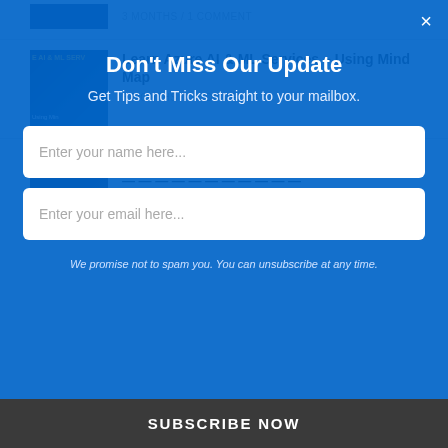[Figure (screenshot): Thumbnail image for Azure AI & ML article with eye graphic and blue tech background]
Learn Azure AI & ML Services – Using Mind Map
3 MONTHS / 0 COMMENTS
[Figure (screenshot): Thumbnail image for Diagrams and visualizations article with dark background]
Adding Diagrams and visualizations in
Don't Miss Our Update
Get Tips and Tricks straight to your mailbox.
Enter your name here...
Enter your email here...
We promise not to spam you. You can unsubscribe at any time.
SUBSCRIBE NOW